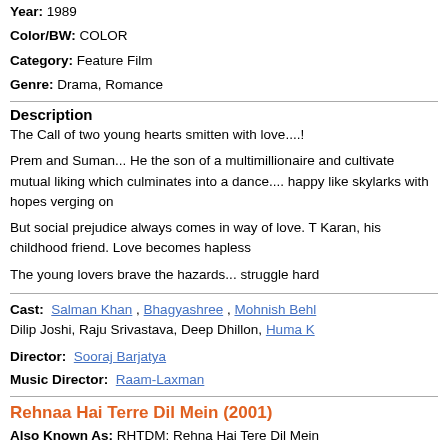Year: 1989
Color/BW: COLOR
Category: Feature Film
Genre: Drama, Romance
Description
The Call of two young hearts smitten with love....!
Prem and Suman... He the son of a multimillionaire and cultivate mutual liking which culminates into a dance.... happy like skylarks with hopes verging on
But social prejudice always comes in way of love. T Karan, his childhood friend. Love becomes hapless
The young lovers brave the hazards... struggle hard
Cast: Salman Khan , Bhagyashree , Mohnish Behl , Dilip Joshi, Raju Srivastava, Deep Dhillon, Huma K
Director: Sooraj Barjatya
Music Director: Raam-Laxman
Rehnaa Hai Terre Dil Mein (2001)
Also Known As: RHTDM: Rehna Hai Tere Dil Mein
Country: India
Language: Hindi